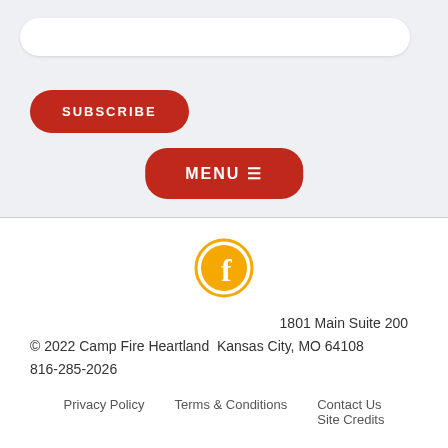[Figure (other): White rounded search bar input field on gray background]
SUBSCRIBE
MENU ☰
[Figure (logo): Facebook icon: orange circle with white 'f' letter inside, with orange ring border]
1801 Main Suite 200
© 2022 Camp Fire Heartland  Kansas City, MO 64108
816-285-2026
Privacy Policy     Terms & Conditions     Contact Us     Site Credits